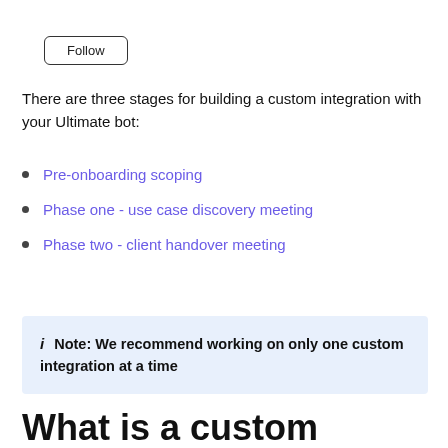[Figure (other): Follow button with border]
There are three stages for building a custom integration with your Ultimate bot:
Pre-onboarding scoping
Phase one - use case discovery meeting
Phase two - client handover meeting
i Note: We recommend working on only one custom integration at a time
What is a custom